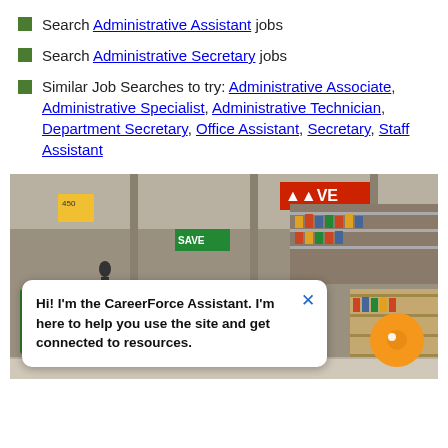Search Administrative Assistant jobs
Search Administrative Secretary jobs
Similar Job Searches to try: Administrative Associate, Administrative Specialist, Administrative Technician, Department Secretary, Office Assistant, Secretary, Staff Assistant
[Figure (photo): Interior of a grocery store/supermarket showing produce displays with apples and other fruits in green crates, price signs including R24, shelves stocked with products in the background, red SAVE signage, and a person walking in the background.]
Hi! I'm the CareerForce Assistant. I'm here to help you use the site and get connected to resources.